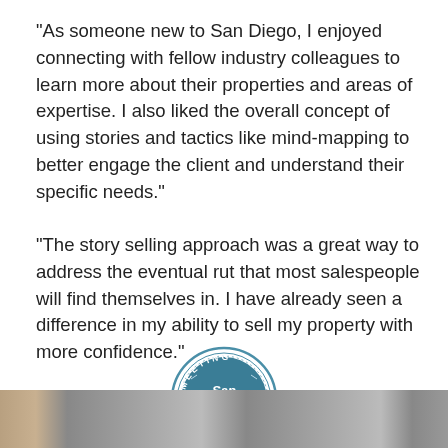"As someone new to San Diego, I enjoyed connecting with fellow industry colleagues to learn more about their properties and areas of expertise. I also liked the overall concept of using stories and tactics like mind-mapping to better engage the client and understand their specific needs."
"The story selling approach was a great way to address the eventual rut that most salespeople will find themselves in. I have already seen a difference in my ability to sell my property with more confidence."
[Figure (logo): San Diego Meeting Certified badge/logo — circular seal with 'MEETING' at top, 'CERTIFIED' at bottom, and 'San Diego' stylized text in center with a palm tree/sun icon]
[Figure (photo): A horizontal strip photo showing a group of people, partially cut off at the bottom of the page]